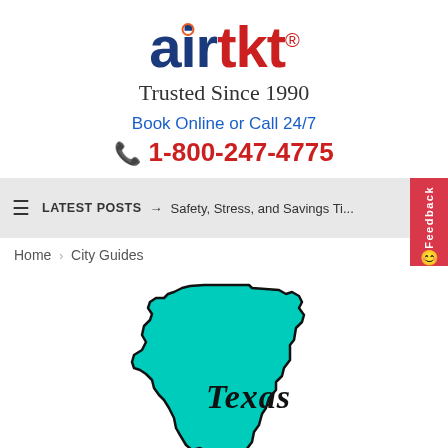[Figure (logo): airtkt logo with orange circle dot over i, blue and red text, registered trademark symbol]
Trusted Since 1990
Book Online or Call 24/7
1-800-247-4775
LATEST POSTS → Safety, Stress, and Savings Ti...
Home › City Guides
[Figure (illustration): Teal/turquoise silhouette map of Texas with black outline and cursive 'Texas' text written on it]